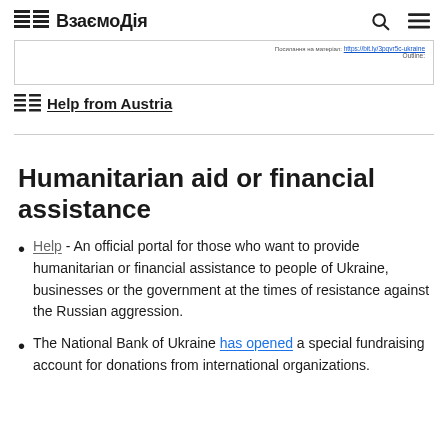ВзаємоДія
Help from Austria
Humanitarian aid or financial assistance
Help - An official portal for those who want to provide humanitarian or financial assistance to people of Ukraine, businesses or the government at the times of resistance against the Russian aggression.
The National Bank of Ukraine has opened a special fundraising account for donations from international organizations.